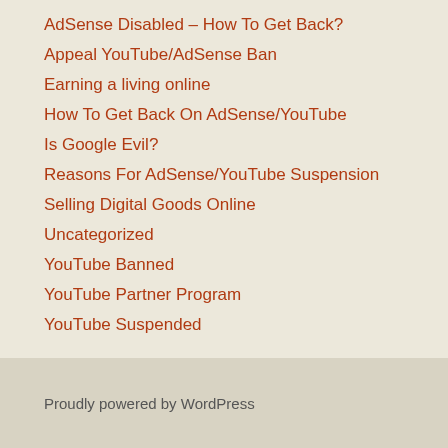AdSense Disabled – How To Get Back?
Appeal YouTube/AdSense Ban
Earning a living online
How To Get Back On AdSense/YouTube
Is Google Evil?
Reasons For AdSense/YouTube Suspension
Selling Digital Goods Online
Uncategorized
YouTube Banned
YouTube Partner Program
YouTube Suspended
Proudly powered by WordPress